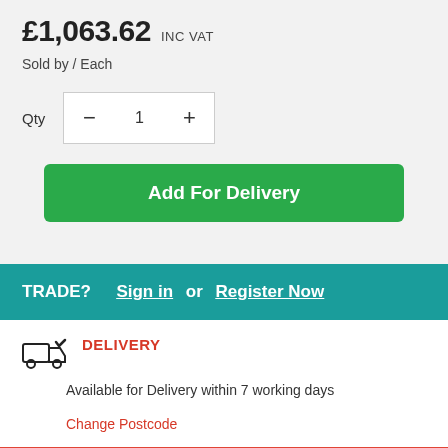£1,063.62 INC VAT
Sold by / Each
Qty  −  1  +
Add For Delivery
TRADE? Sign in or Register Now
DELIVERY
Available for Delivery within 7 working days
Change Postcode
Related products you may also need